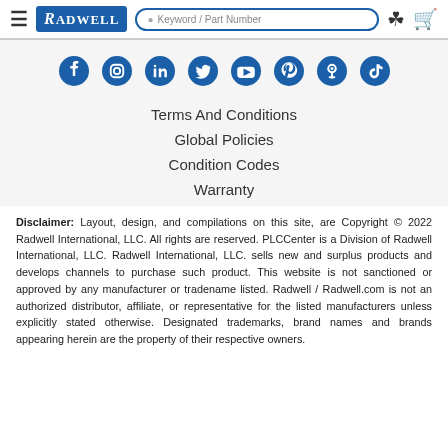Radwell — Keyword / Part Number search bar, user icon, cart icon
[Figure (other): Social media icons row: Facebook, Instagram, LinkedIn, Twitter, YouTube, Pinterest, Podcast, TikTok — all in blue]
Terms And Conditions
Global Policies
Condition Codes
Warranty
Disclaimer: Layout, design, and compilations on this site, are Copyright © 2022 Radwell International, LLC. All rights are reserved. PLCCenter is a Division of Radwell International, LLC. Radwell International, LLC. sells new and surplus products and develops channels to purchase such product. This website is not sanctioned or approved by any manufacturer or tradename listed. Radwell / Radwell.com is not an authorized distributor, affiliate, or representative for the listed manufacturers unless explicitly stated otherwise. Designated trademarks, brand names and brands appearing herein are the property of their respective owners.